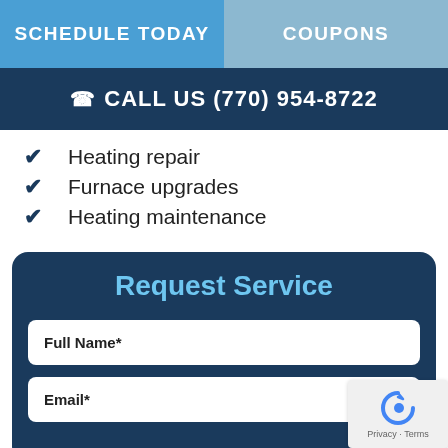SCHEDULE TODAY | COUPONS
CALL US (770) 954-8722
Heating repair
Furnace upgrades
Heating maintenance
Request Service
Full Name*
Email*